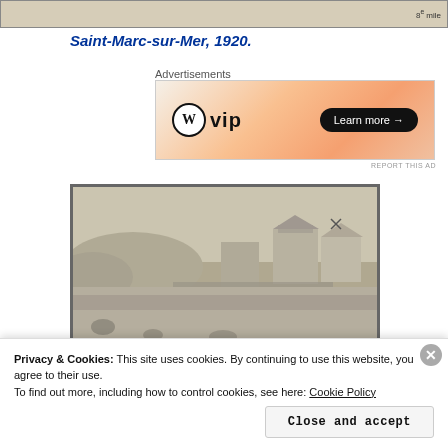[Figure (photo): Cropped top edge of a historical map showing terrain and scale marker '8e mile']
Saint-Marc-sur-Mer, 1920.
[Figure (other): WordPress VIP advertisement banner with orange gradient background, WP logo, 'vip' text, and 'Learn more →' button]
REPORT THIS AD
[Figure (photo): Historical black-and-white photograph of a beach scene at Saint-Marc-sur-Mer circa 1920, showing a crowded beach with buildings and houses in the background]
Privacy & Cookies: This site uses cookies. By continuing to use this website, you agree to their use.
To find out more, including how to control cookies, see here: Cookie Policy
Close and accept